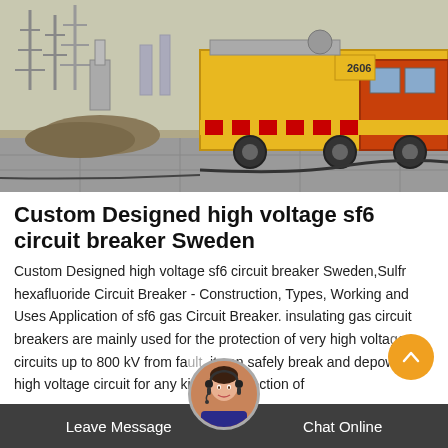[Figure (photo): A yellow utility/service truck parked at an electrical substation construction site. Power transmission towers and equipment visible in the background. Dry ground with paving slabs in the foreground. Cables on the ground.]
Custom Designed high voltage sf6 circuit breaker Sweden
Custom Designed high voltage sf6 circuit breaker Sweden,Sulfr hexafluoride Circuit Breaker - Construction, Types, Working and Uses Application of sf6 gas Circuit Breaker. insulating gas circuit breakers are mainly used for the protection of very high voltage circuits up to 800 kV from fault. it can safely break and depower a high voltage circuit for any kind of inspection of
Leave Message   Chat Online